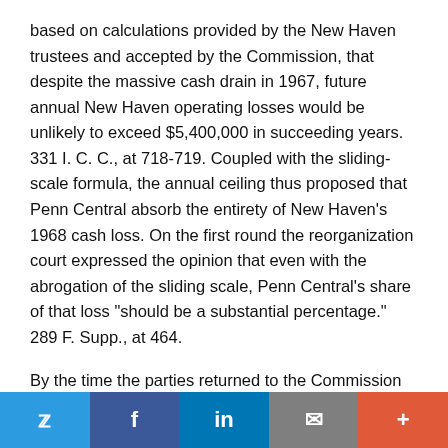based on calculations provided by the New Haven trustees and accepted by the Commission, that despite the massive cash drain in 1967, future annual New Haven operating losses would be unlikely to exceed $5,400,000 in succeeding years. 331 I. C. C., at 718-719. Coupled with the sliding-scale formula, the annual ceiling thus proposed that Penn Central absorb the entirety of New Haven's 1968 cash loss. On the first round the reorganization court expressed the opinion that even with the abrogation of the sliding scale, Penn Central's share of that loss "should be a substantial percentage." 289 F. Supp., at 464.
By the time the parties returned to the Commission on the remand, it was evident that the trustees' appraisal of their ability to contain the New Haven's deficits had been far too optimistic. From February through December 1968, the trustees had already drawn down $14,000,000 of the
Twitter | Facebook | LinkedIn | Email | More